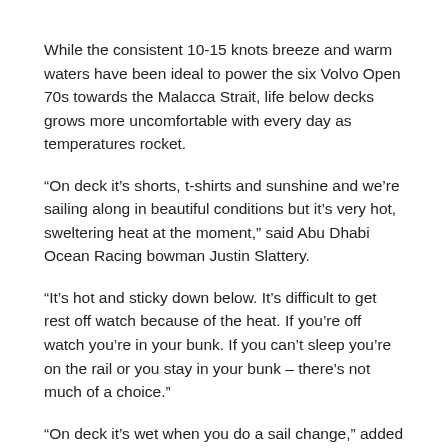While the consistent 10-15 knots breeze and warm waters have been ideal to power the six Volvo Open 70s towards the Malacca Strait, life below decks grows more uncomfortable with every day as temperatures rocket.
“On deck it’s shorts, t-shirts and sunshine and we’re sailing along in beautiful conditions but it’s very hot, sweltering heat at the moment,” said Abu Dhabi Ocean Racing bowman Justin Slattery.
“It’s hot and sticky down below. It’s difficult to get rest off watch because of the heat. If you’re off watch you’re in your bunk. If you can’t sleep you’re on the rail or you stay in your bunk – there’s not much of a choice.”
“On deck it’s wet when you do a sail change,” added PUMA bowman Casey Smith. “Of course, as soon as you put your wet weather gear on you sweat horribly, so you’re going to get wet either way, from sweat or from salt water.”
With just 20.5 nautical miles separating PUMA from six-placed Sanya, each of the teams have been pouring their energy into squeezing every last bit of boat speed from their yachts, desperately trying to get the upper hand on their opponents.
“It’s a meticulous job, with slightly open angles and a little bit of speed in the